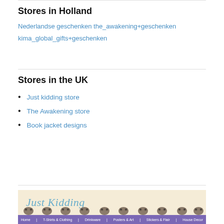Stores in Holland
Nederlandse geschenken the_awakening+geschenken kima_global_gifts+geschenken
Stores in the UK
Just kidding store
The Awakening store
Book jacket designs
[Figure (screenshot): Screenshot of the Just Kidding store website banner showing the title 'Just Kidding' in blue italic text on a cream background with decorative owl motifs and a purple navigation bar with links: Home, T-Shirts & Clothing, Drinkware, Posters & Art, Stickers & Flair, House Decor]